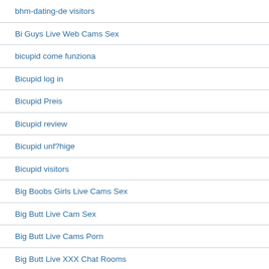bhm-dating-de visitors
Bi Guys Live Web Cams Sex
bicupid come funziona
Bicupid log in
Bicupid Preis
Bicupid review
Bicupid unf?hige
Bicupid visitors
Big Boobs Girls Live Cams Sex
Big Butt Live Cam Sex
Big Butt Live Cams Porn
Big Butt Live XXX Chat Rooms
Big Butt Live XXX Webcam
Big Cock Live XXX Chat Rooms
Big Tits Live Sex